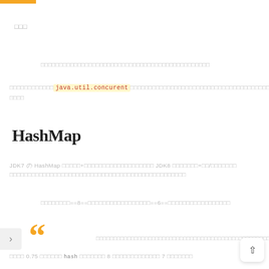□□□
□□□□□□□□□□□□□□□□□□□□□□□□□□□□□□□□□□□□□□□□□□□□□
□□□□□□□□□□□□ java.util.concurent □□□□□□□□□□□□□□□□□□□□□□□□□□□□□□□□□□□□□□□□□□□□ □□□□
HashMap
JDK7 の HashMap □□□□□+□□□□□□□□□□□□□□□□□□□ JDK8 □□□□□□□+□□/□□□□□□□ □□□□□□□□□□□□□□□□□□□□□□□□□□□□□□□□□□□□□□□□□□□□□□□□
□□□□□□□□==8==□□□□□□□□□□□□□□□□□==6==□□□□□□□□□□□□□□□□□
□□□□□□□□□□□□□□□□□□□□□□□□□□□□□□□□□□□□□□□□□□□□□□□□□□□□□□□□□□□
□□□□ 0.75 □□□□□□ hash □□□□□□□ 8 □□□□□□□□□□□□□ 7 □□□□□□□